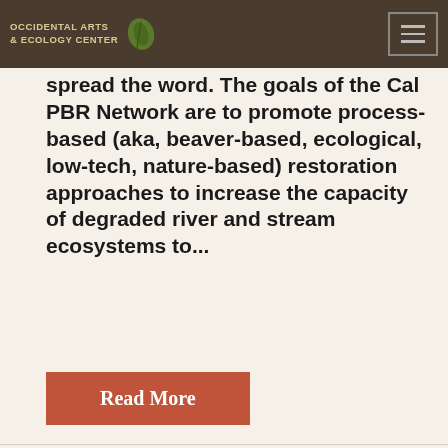Occidental Arts & Ecology Center
Brock Dolman are excited to announce the initiation of a Process-based Restoration (Cal PBR) Network and invite you to participate and spread the word. The goals of the Cal PBR Network are to promote process-based (aka, beaver-based, ecological, low-tech, nature-based) restoration approaches to increase the capacity of degraded river and stream ecosystems to...
Read More
[Figure (photo): Outdoor nature/stream image with overlay text: 'Cooking Fish Food in a Ship Channel?' and 'Rethinking Ballparks & the Bay Trail in View of Climate Change'. Large letter 'A' visible on right side.]